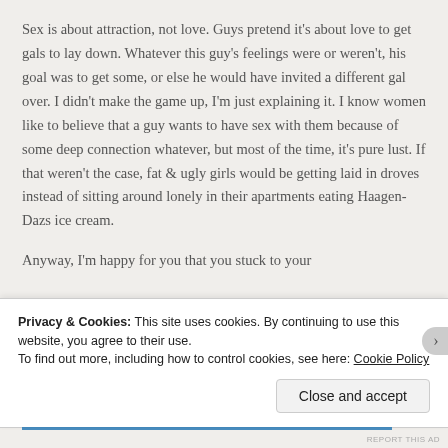Sex is about attraction, not love. Guys pretend it's about love to get gals to lay down. Whatever this guy's feelings were or weren't, his goal was to get some, or else he would have invited a different gal over. I didn't make the game up, I'm just explaining it. I know women like to believe that a guy wants to have sex with them because of some deep connection whatever, but most of the time, it's pure lust. If that weren't the case, fat & ugly girls would be getting laid in droves instead of sitting around lonely in their apartments eating Haagen-Dazs ice cream.

Anyway, I'm happy for you that you stuck to your...
Privacy & Cookies: This site uses cookies. By continuing to use this website, you agree to their use.
To find out more, including how to control cookies, see here: Cookie Policy